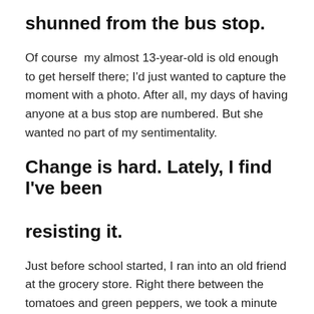shunned from the bus stop.
Of course  my almost 13-year-old is old enough to get herself there; I'd just wanted to capture the moment with a photo. After all, my days of having anyone at a bus stop are numbered. But she wanted no part of my sentimentality.
Change is hard. Lately, I find I've been resisting it.
Just before school started, I ran into an old friend at the grocery store. Right there between the tomatoes and green peppers, we took a minute to catch up. My friend is younger, her children still in elementary school. We talked